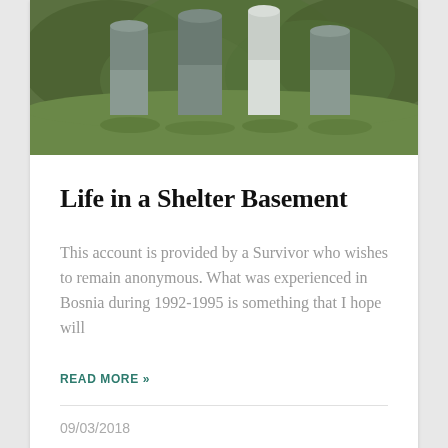[Figure (photo): Photo of gravestones or memorial markers in a green field, partially cropped at top]
Life in a Shelter Basement
This account is provided by a Survivor who wishes to remain anonymous. What was experienced in Bosnia during 1992-1995 is something that I hope will
READ MORE »
09/03/2018
[Figure (photo): Close-up photo of a young woman's face, partially cropped, brown hair]